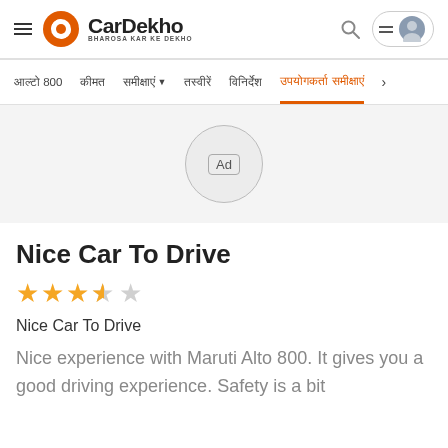CarDekho - BHAROSA KAR KE DEKHO
आल्टो 800  कीमत  समीक्षाएं ▼  तस्वीरें  विनिर्देश  उपयोगकर्ता समीक्षाएं
[Figure (other): Advertisement placeholder circle with Ad label]
Nice Car To Drive
★★★☆☆ (3.5 out of 5 stars rating)
Nice Car To Drive
Nice experience with Maruti Alto 800. It gives you a good driving experience. Safety is a bit